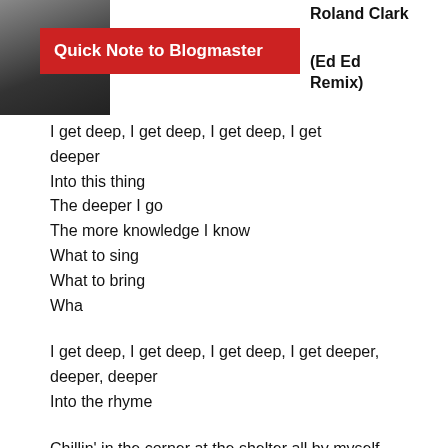[Figure (photo): Thumbnail photo of a person, partially obscured, dark tones]
Quick Note to Blogmaster
Roland Clark
(Ed Ed Remix)
I get deep, I get deep, I get deep, I get deeper
Into this thing
The deeper I go
The more knowledge I know
What to sing
What to bring
Wha
I get deep, I get deep, I get deep, I get deeper, deeper, deeper
Into the rhyme
Chillin' in the corner at the shelter all by myself
Checkin it out I'm not dancin' no more but